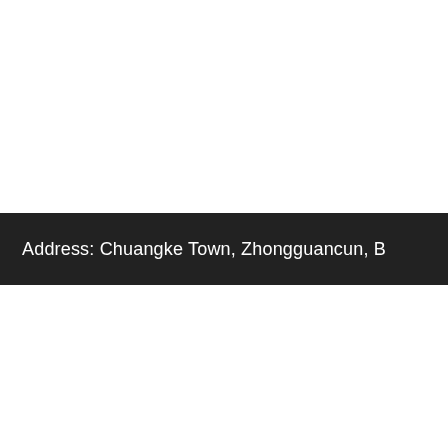Address: Chuangke Town, Zhongguancun, B